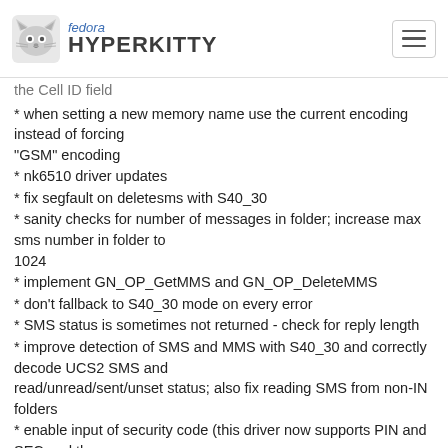fedora HYPERKITTY
the Cell ID field
* when setting a new memory name use the current encoding instead of forcing "GSM" encoding
* nk6510 driver updates
* fix segfault on deletesms with S40_30
* sanity checks for number of messages in folder; increase max sms number in folder to 1024
* implement GN_OP_GetMMS and GN_OP_DeleteMMS
* don't fallback to S40_30 mode on every error
* SMS status is sometimes not returned - check for reply length
* improve detection of SMS and MMS with S40_30 and correctly decode UCS2 SMS and read/unread/sent/unset status; also fix reading SMS from non-IN folders
* enable input of security code (this driver now supports PIN and SEC and throws an error for other codes)
* distinguish between "file not found" for --getfile (return an error)